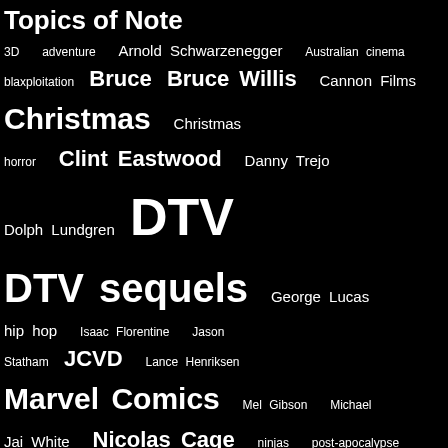Topics of Note
3D  adventure  Arnold Schwarzenegger  Australian cinema  blaxploitation  Bruce  Bruce Willis  Cannon Films  Christmas  Christmas horror  Clint Eastwood  Danny Trejo  Dolph Lundgren  DTV  DTV sequels  George Lucas  hip hop  Isaac Florentine  Jason Statham  JCVD  Lance Henriksen  Marvel Comics  Mel Gibson  Michael Jai White  Nicolas Cage  ninjas  post-apocalypse  remakes  revenge  robots  Sam Raimi  Samuel L. Jackson  samurai  Scott Adkins  Seagalogy  slashers  Slasher Search  Steven Spielberg  Summer of '98  Summer of 1985  Summer of 1991  Sylvester Stallone  vampires  Wesley Snipes  zombies
Literature
Elmore Leonard official websight    Hard Case Crime    The Violent World of Parker    Titan Books